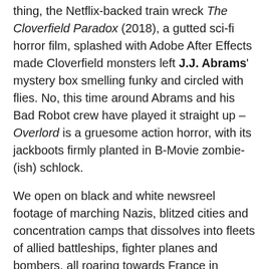thing, the Netflix-backed train wreck The Cloverfield Paradox (2018), a gutted sci-fi horror film, splashed with Adobe After Effects made Cloverfield monsters left J.J. Abrams' mystery box smelling funky and circled with flies. No, this time around Abrams and his Bad Robot crew have played it straight up – Overlord is a gruesome action horror, with its jackboots firmly planted in B-Movie zombie-(ish) schlock.
We open on black and white newsreel footage of marching Nazis, blitzed cities and concentration camps that dissolves into fleets of allied battleships, fighter planes and bombers, all roaring towards France in Operation Overlord, or D-Day as it's better-known. In the turbulent skies above, packed inside a Douglas C-47 troop plane, a squad of American soldiers wait anxiously, trading salty barbs, trying not to puke, and mostly failing… As cigar chomping Sergeant Rensin (Bokeem Woodbine) yells at them over the noisy prop engines, their mission is simple, but by no means easy, they...